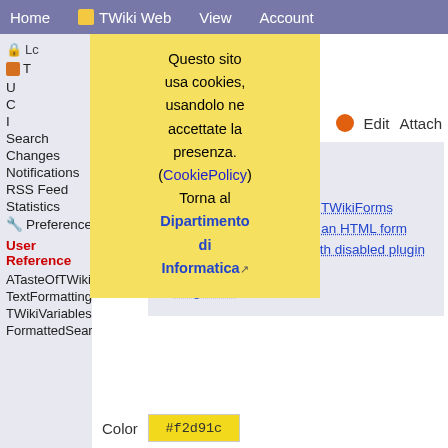Home  TWiki Web  View  Account
Questo sito usa cookies, usandolo ne accettate la presenza. (CookiePolicy) Torna al Dipartimento di Informatica
Lc
T
Search
Changes
Notifications
RSS Feed
Statistics
Preferences
User Reference
ATasteOfTWiki
TextFormattingRules
TWikiVariables
FormattedSearch
Tags: create new tag  view all tags
cker Plugin
Edit  Attach
Page contents
↓ Introduction
↓ Using the color picker in TWikiForms
↓ Using the color picker in an HTML form
↓ Using the color picker with disabled plugin
↓ Installation Instructions
↓ Plugin Info
Color  #f2d91c